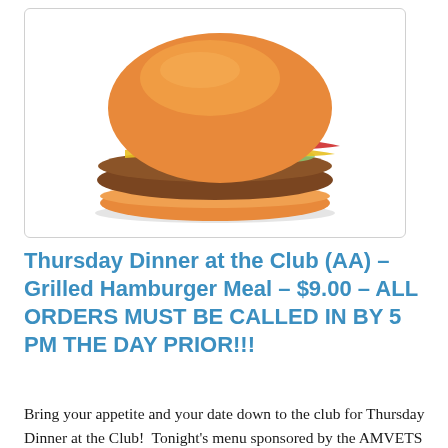[Figure (photo): A grilled hamburger with ketchup, mustard, pickles, and onions on a bun, shown on a white background inside a light gray bordered box.]
Thursday Dinner at the Club (AA) – Grilled Hamburger Meal – $9.00 – ALL ORDERS MUST BE CALLED IN BY 5 PM THE DAY PRIOR!!!
Bring your appetite and your date down to the club for Thursday Dinner at the Club!  Tonight's menu sponsored by the AMVETS Auxiliary includes Hamburgers and the Fixings,